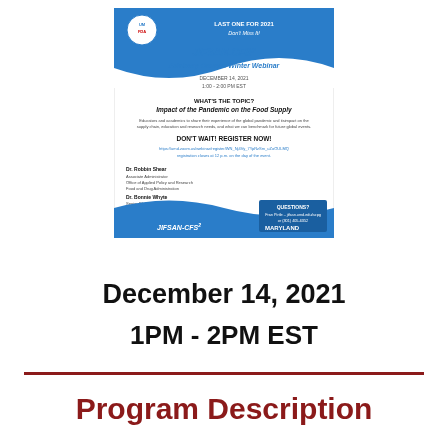[Figure (illustration): JIFSAN-CFS² Advisory Council Winter Webinar flyer with blue wave design, FDA logo, event details for December 14, 2021 1:00-2:00 PM EST, topic 'Impact of the Pandemic on the Food Supply', speaker names, and registration link.]
December 14, 2021
1PM - 2PM EST
Program Description